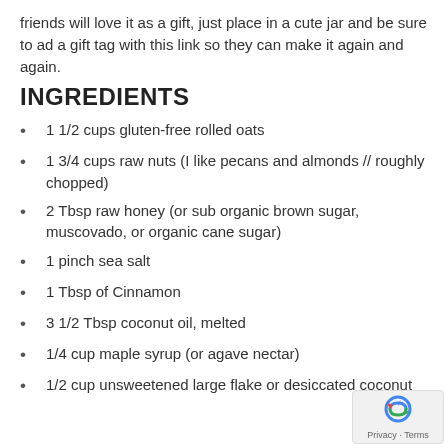friends will love it as a gift, just place in a cute jar and be sure to ad a gift tag with this link so they can make it again and again.
INGREDIENTS
1 1/2 cups gluten-free rolled oats
1 3/4 cups raw nuts (I like pecans and almonds // roughly chopped)
2 Tbsp raw honey (or sub organic brown sugar, muscovado, or organic cane sugar)
1 pinch sea salt
1 Tbsp of Cinnamon
3 1/2 Tbsp coconut oil, melted
1/4 cup maple syrup (or agave nectar)
1/2 cup unsweetened large flake or desiccated coconut